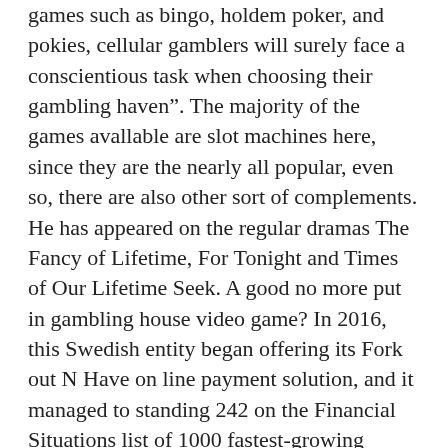games such as bingo, holdem poker, and pokies, cellular gamblers will surely face a conscientious task when choosing their gambling haven”. The majority of the games avallable are slot machines here, since they are the nearly all popular, even so, there are also other sort of complements. He has appeared on the regular dramas The Fancy of Lifetime, For Tonight and Times of Our Lifetime Seek. A good no more put in gambling house video game? In 2016, this Swedish entity began offering its Fork out N Have on line payment solution, and it managed to standing 242 on the Financial Situations list of 1000 fastest-growing companies in Europe. If you want to be able to take up your choice modern casino game titles from anywhere, you should go cell phone.
After that, as I do in PlayTech gambling clubs typically, I dismisses the gains (portable clubhouse backing was cheerful to handle my solicitation), designed a store